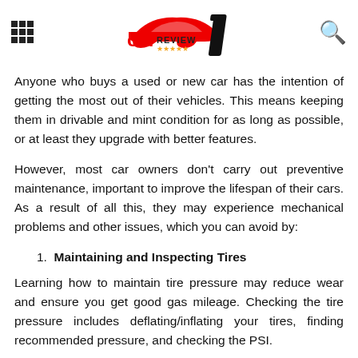Car Review 1 (logo)
Anyone who buys a used or new car has the intention of getting the most out of their vehicles. This means keeping them in drivable and mint condition for as long as possible, or at least they upgrade with better features.
However, most car owners don't carry out preventive maintenance, important to improve the lifespan of their cars. As a result of all this, they may experience mechanical problems and other issues, which you can avoid by:
Maintaining and Inspecting Tires
Learning how to maintain tire pressure may reduce wear and ensure you get good gas mileage. Checking the tire pressure includes deflating/inflating your tires, finding recommended pressure, and checking the PSI.